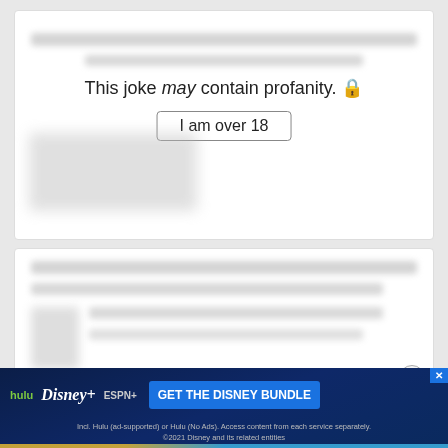[Figure (screenshot): Top card showing blurred content with age gate: 'This joke may contain profanity.' and 'I am over 18' button]
This joke may contain profanity. 🔒
I am over 18
[Figure (screenshot): Bottom card showing blurred content with age gate: 'This joke may contain profanity.' and 'I am over 18' button, with a close X button]
This joke may contain profanity. 🔒
I am over 18
[Figure (infographic): Disney Bundle advertisement banner: hulu, Disney+, ESPN+ logos with 'GET THE DISNEY BUNDLE' call to action. Disclaimer: Incl. Hulu (ad-supported) or Hulu (No Ads). Access content from each service separately. ©2021 Disney and its related entities]